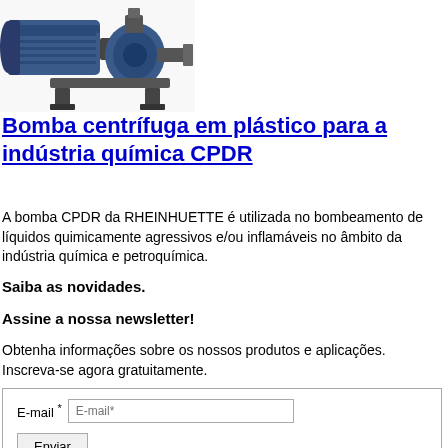[Figure (photo): Photograph of a blue centrifugal plastic pump (CPDR) used in chemical industry, shown from a side-front angle with motor and pump head visible.]
Bomba centrífuga em plástico para a indústria química CPDR
A bomba CPDR da RHEINHUETTE é utilizada no bombeamento de líquidos quimicamente agressivos e/ou inflamáveis no âmbito da indústria química e petroquímica.
Saiba as novidades.
Assine a nossa newsletter!
Obtenha informações sobre os nossos produtos e aplicações. Inscreva-se agora gratuitamente.
| E-mail * | E-mail* |
| Enviar |  |